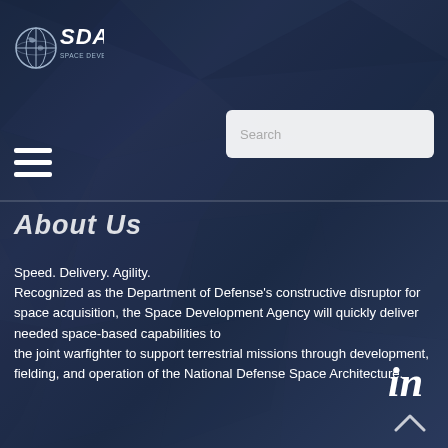[Figure (logo): SDA Space Development Agency logo — globe with SDA text in white on dark blue background]
[Figure (screenshot): Search input box with placeholder text 'Search']
[Figure (other): Hamburger menu icon — three horizontal white bars]
About Us
Speed. Delivery. Agility.
Recognized as the Department of Defense's constructive disruptor for space acquisition, the Space Development Agency will quickly deliver needed space-based capabilities to the joint warfighter to support terrestrial missions through development, fielding, and operation of the National Defense Space Architecture.
[Figure (logo): LinkedIn icon in white]
[Figure (other): Scroll-to-top chevron arrow in white]